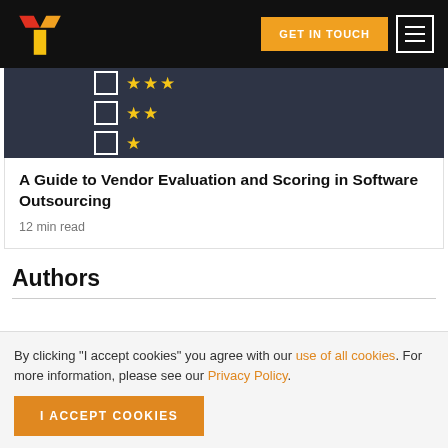GET IN TOUCH | Navigation menu
[Figure (illustration): Dark background card image with checkbox and star rating rows: 3 stars, 2 stars, 1 star]
A Guide to Vendor Evaluation and Scoring in Software Outsourcing
12 min read
Authors
By clicking "I accept cookies" you agree with our use of all cookies. For more information, please see our Privacy Policy.
I ACCEPT COOKIES